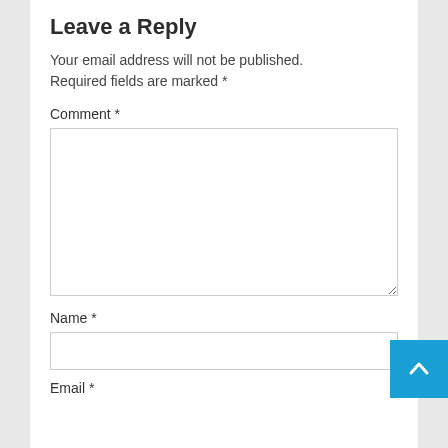Leave a Reply
Your email address will not be published. Required fields are marked *
Comment *
[Figure (screenshot): Empty comment textarea input field]
Name *
[Figure (screenshot): Empty name text input field]
Email *